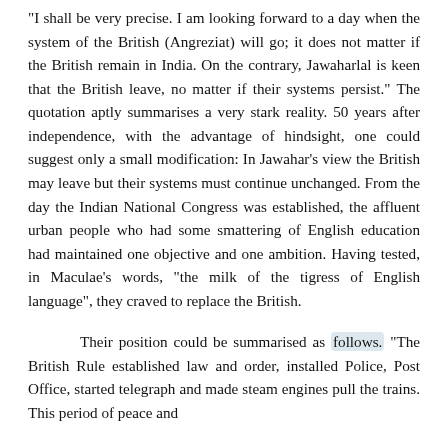“I shall be very precise. I am looking forward to a day when the system of the British (Angreziat) will go; it does not matter if the British remain in India. On the contrary, Jawaharlal is keen that the British leave, no matter if their systems persist.” The quotation aptly summarises a very stark reality. 50 years after independence, with the advantage of hindsight, one could suggest only a small modification: In Jawahar’s view the British may leave but their systems must continue unchanged. From the day the Indian National Congress was established, the affluent urban people who had some smattering of English education had maintained one objective and one ambition. Having tested, in Maculae’s words, “the milk of the tigress of English language”, they craved to replace the British.
Their position could be summarised as follows. “The British Rule established law and order, installed Police, Post Office, started telegraph and made steam engines pull the trains. This period of peace and